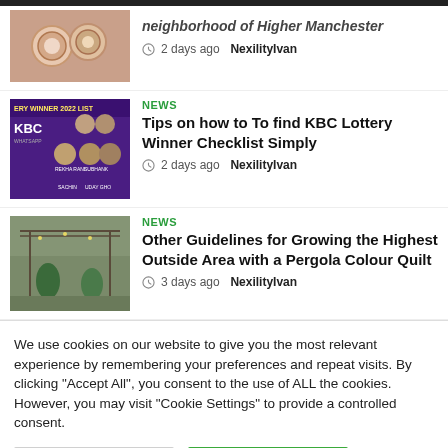[Figure (photo): Partial thumbnail of jewelry/rings at top of page, cropped]
neighborhood of Higher Manchester
2 days ago  NexilityIvan
[Figure (photo): KBC lottery winner 2022 list promotional image with faces]
NEWS
Tips on how to To find KBC Lottery Winner Checklist Simply
2 days ago  NexilityIvan
[Figure (photo): Outdoor pergola/patio area with trees and decorative lights]
NEWS
Other Guidelines for Growing the Highest Outside Area with a Pergola Colour Quilt
3 days ago  NexilityIvan
We use cookies on our website to give you the most relevant experience by remembering your preferences and repeat visits. By clicking "Accept All", you consent to the use of ALL the cookies. However, you may visit "Cookie Settings" to provide a controlled consent.
Cookie Settings
Accept All